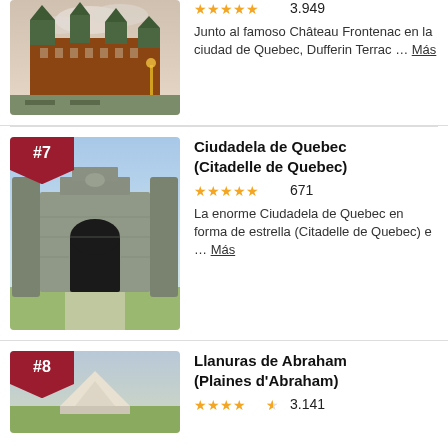[Figure (photo): Photo of Château Frontenac and Dufferin Terrace in Quebec City, partial view at top of page]
3.949
Junto al famoso Château Frontenac en la ciudad de Quebec, Dufferin Terrac ... Más
[Figure (photo): Photo of the Citadelle de Quebec stone archway gate]
Ciudadela de Quebec (Citadelle de Quebec)
671
La enorme Ciudadela de Quebec en forma de estrella (Citadelle de Quebec) e ... Más
Llanuras de Abraham (Plaines d'Abraham)
3.141